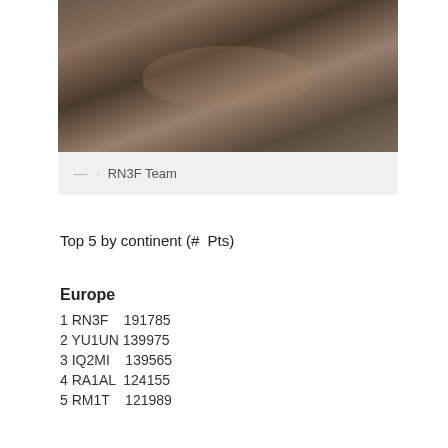[Figure (photo): Group photo of RN3F Team members, people visible at what appears to be a radio operating station or event table]
— · RN3F Team
Top 5 by continent (#  Pts)
Europe
1 RN3F    191785
2 YU1UN 139975
3 IQ2MI    139565
4 RA1AL  124155
5 RM1T    121989